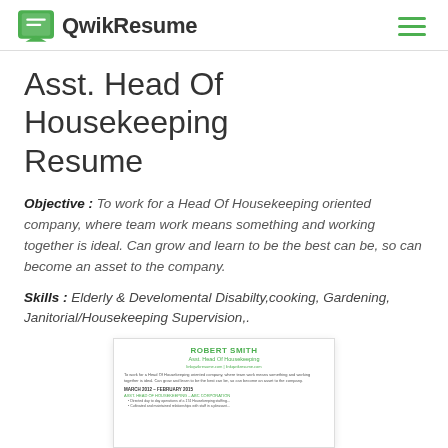QwikResume
Asst. Head Of Housekeeping Resume
Objective : To work for a Head Of Housekeeping oriented company, where team work means something and working together is ideal. Can grow and learn to be the best can be, so can become an asset to the company.
Skills : Elderly & Develomental Disabilty,cooking, Gardening, Janitorial/Housekeeping Supervision,.
[Figure (screenshot): A preview thumbnail of a resume for Robert Smith, Asst. Head Of Housekeeping, showing name, title, contact info, objective text, and work experience section header.]